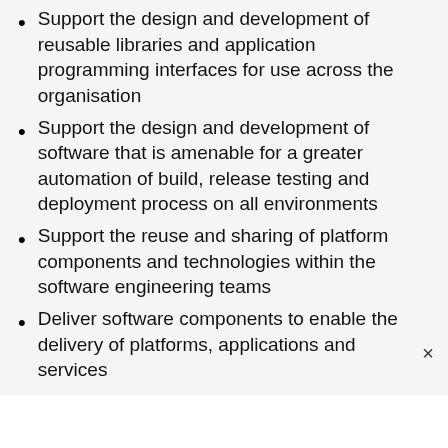Support the design and development of reusable libraries and application programming interfaces for use across the organisation
Support the design and development of software that is amenable for a greater automation of build, release testing and deployment process on all environments
Support the reuse and sharing of platform components and technologies within the software engineering teams
Deliver software components to enable the delivery of platforms, applications and services